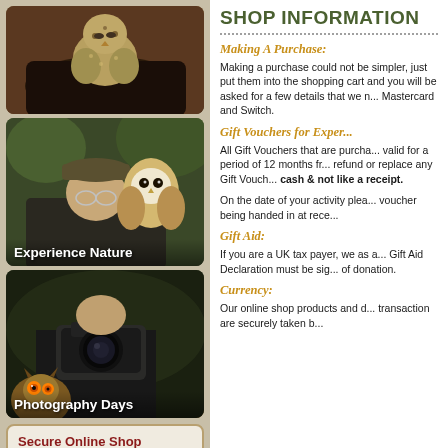[Figure (photo): Top photo: owl chick held in gloved hands]
[Figure (photo): Middle photo: man with barn owl perched near face, labeled 'Experience Nature']
[Figure (photo): Bottom photo: photographer with camera and owl, labeled 'Photography Days']
Secure Online Shop and Charity Donations
SHOP INFORMATION
Making A Purchase:
Making a purchase could not be simpler, just put them into the shopping cart and you will be asked for a few details that we n... Mastercard and Switch.
Gift Vouchers for Exper...
All Gift Vouchers that are purcha... valid for a period of 12 months fr... refund or replace any Gift Vouch... cash & not like a receipt.
On the date of your activity plea... voucher being handed in at rece...
Gift Aid:
If you are a UK tax payer, we as a... Gift Aid Declaration must be sig... of donation.
Currency:
Our online shop products and d... transaction are securely taken b...